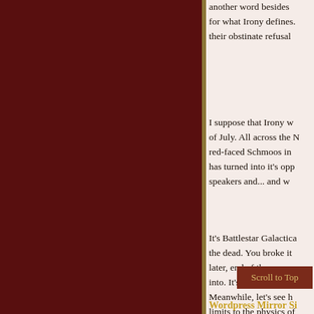another word besides for what Irony defines. their obstinate refusal
I suppose that Irony w of July. All across the N red-faced Schmoos in has turned into it's opp speakers and... and w
It's Battlestar Galactica the dead. You broke it later, end of the perpe into. It's the thing that Meanwhile, let's see h limits to the physics of
Scroll to Top
Wordpress Mirror Si